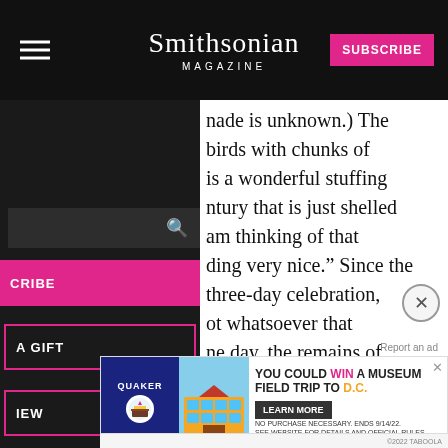Smithsonian MAGAZINE
nade is unknown.) The birds with chunks of is a wonderful stuffing ntury that is just shelled am thinking of that ding very nice.” Since the three-day celebration, ot whatsoever that ne day, the remains of
[Figure (screenshot): Navigation sidebar with dark background showing search bar, SUBSCRIBE pink button, A GIFT outlined button, and IEW outlined button]
Science
[Figure (other): Advertisement banner: Quaker - You could WIN a museum FIELD TRIP TO D.C. Learn More. No purchase necessary, ends 9/14/22.]